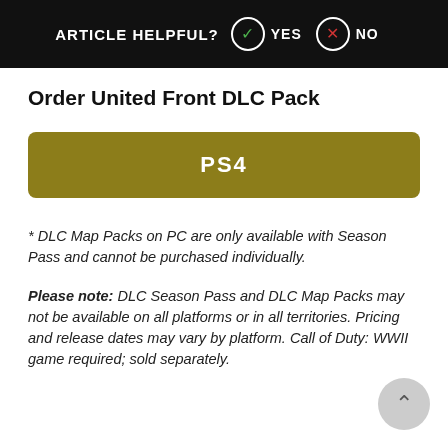ARTICLE HELPFUL? YES NO
Order United Front DLC Pack
[Figure (other): PS4 button — a rounded olive/gold-colored button with white bold text 'PS4' centered]
* DLC Map Packs on PC are only available with Season Pass and cannot be purchased individually.
Please note: DLC Season Pass and DLC Map Packs may not be available on all platforms or in all territories. Pricing and release dates may vary by platform. Call of Duty: WWII game required; sold separately.